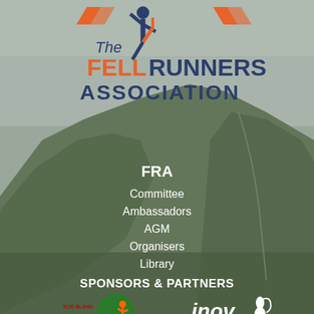[Figure (logo): The Fell Runners Association logo with orange and navy runner figure silhouette and text 'The FELL RUNNERS ASSOCIATION']
[Figure (photo): Background mountain landscape photo showing a large green fell/hill under grey sky]
FRA
Committee
Ambassadors
AGM
Organisers
Library
SPONSORS & PARTNERS
[Figure (logo): Pete Bland Sports logo - circular green logo with runner silhouette and red/white text]
[Figure (logo): Inov-8 logo in white with footprint icon]